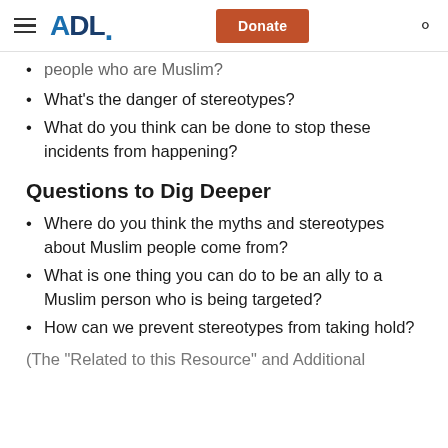ADL — Donate
people who are Muslim?
What's the danger of stereotypes?
What do you think can be done to stop these incidents from happening?
Questions to Dig Deeper
Where do you think the myths and stereotypes about Muslim people come from?
What is one thing you can do to be an ally to a Muslim person who is being targeted?
How can we prevent stereotypes from taking hold?
(The "Related to this Resource" and Additional